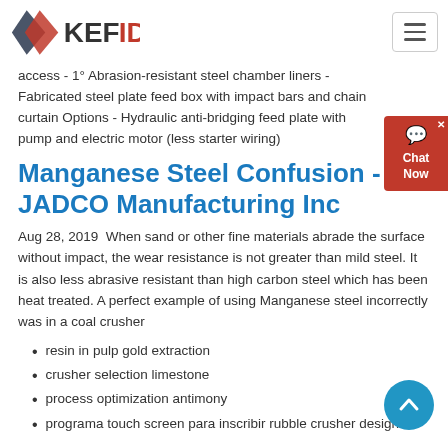[Figure (logo): KEFID company logo with geometric arrow/diamond shape in dark grey and red text]
access - 1° Abrasion-resistant steel chamber liners - Fabricated steel plate feed box with impact bars and chain curtain Options - Hydraulic anti-bridging feed plate with pump and electric motor (less starter wiring)
Manganese Steel Confusion - JADCO Manufacturing Inc
Aug 28, 2019  When sand or other fine materials abrade the surface without impact, the wear resistance is not greater than mild steel. It is also less abrasive resistant than high carbon steel which has been heat treated. A perfect example of using Manganese steel incorrectly was in a coal crusher
resin in pulp gold extraction
crusher selection limestone
process optimization antimony
programa touch screen para inscribir rubble crusher design